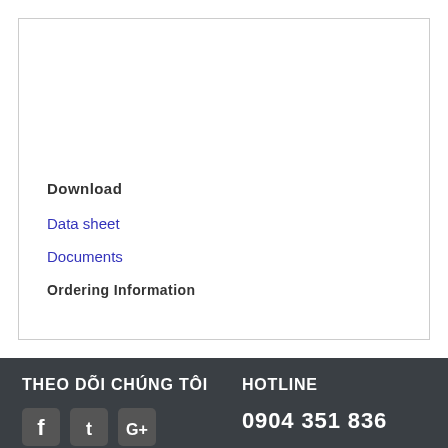Download
Data sheet
Documents
Ordering Information
THEO DÕI CHÚNG TÔI   HOTLINE   0904 351 836